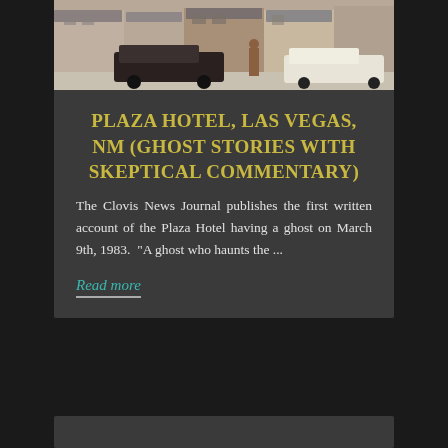[Figure (photo): Street-level photograph of the Plaza Hotel in Las Vegas, NM, showing the front facade with awnings, a dark SUV/van parked in front, and another white vehicle. Historic downtown streetscape.]
PLAZA HOTEL, LAS VEGAS, NM (GHOST STORIES WITH SKEPTICAL COMMENTARY)
The Clovis News Journal publishes the first written account of the Plaza Hotel having a ghost on March 9th, 1983.  "A ghost who haunts the ...
Read more